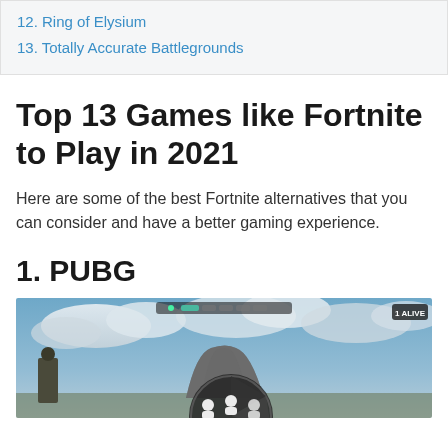12. Ring of Elysium
13. Totally Accurate Battlegrounds
Top 13 Games like Fortnite to Play in 2021
Here are some of the best Fortnite alternatives that you can consider and have a better gaming experience.
1. PUBG
[Figure (screenshot): PUBG game screenshot showing a cooling tower in the background with a cloudy sky, and a team selection HUD in the lower center. '1 ALIVE' indicator in top right corner.]